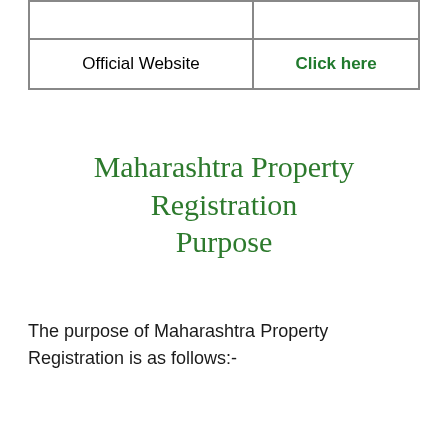|  |  |
| --- | --- |
|  |  |
| Official Website | Click here |
Maharashtra Property Registration Purpose
The purpose of Maharashtra Property Registration is as follows:-